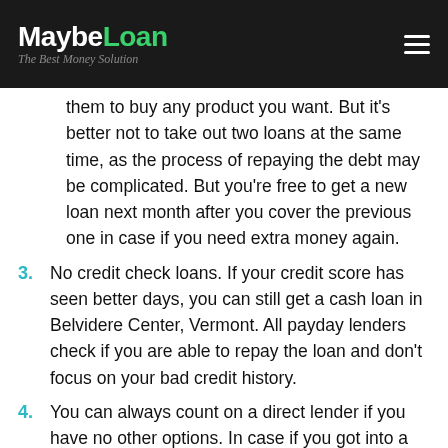MaybeLoan — The Best Money Solution
them to buy any product you want. But it's better not to take out two loans at the same time, as the process of repaying the debt may be complicated. But you're free to get a new loan next month after you cover the previous one in case if you need extra money again.
3. No credit check loans. If your credit score has seen better days, you can still get a cash loan in Belvidere Center, Vermont. All payday lenders check if you are able to repay the loan and don't focus on your bad credit history.
4. You can always count on a direct lender if you have no other options. In case if you got into a tight financial situation, and there's no other option rather than applying for a loan to get your